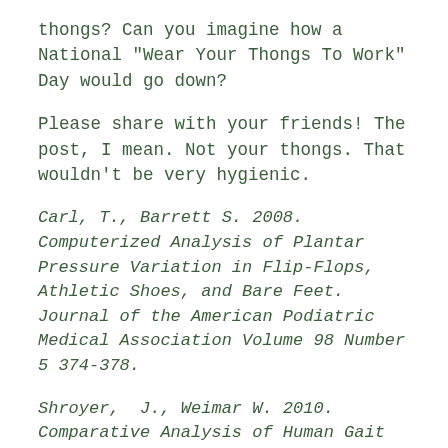thongs? Can you imagine how a National "Wear Your Thongs To Work" Day would go down?
Please share with your friends! The post, I mean. Not your thongs. That wouldn't be very hygienic.
Carl, T., Barrett S. 2008.  Computerized Analysis of Plantar Pressure Variation in Flip-Flops, Athletic Shoes, and Bare Feet. Journal of the American Podiatric Medical Association Volume 98 Number 5 374-378.
Shroyer, J., Weimar W. 2010. Comparative Analysis of Human Gait While Wearing Thong-Style Flip-flops versus Sneakers.  Journal of the American Podiatric Medical Association